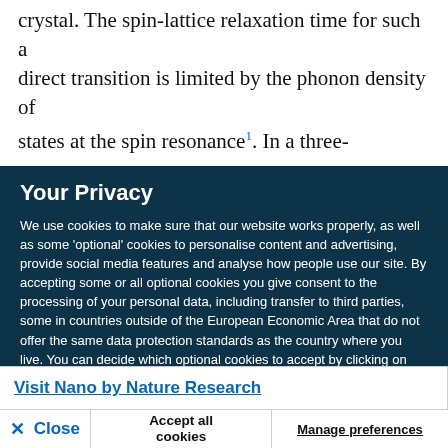crystal. The spin-lattice relaxation time for such a direct transition is limited by the phonon density of states at the spin resonance¹. In a three-
Your Privacy
We use cookies to make sure that our website works properly, as well as some ‘optional’ cookies to personalise content and advertising, provide social media features and analyse how people use our site. By accepting some or all optional cookies you give consent to the processing of your personal data, including transfer to third parties, some in countries outside of the European Economic Area that do not offer the same data protection standards as the country where you live. You can decide which optional cookies to accept by clicking on ‘Manage Settings’, where you can also find more information about how your personal data is processed. Further information can be found in our privacy policy.
Visit Nano by Nature Research
× Close
Accept all cookies
Manage preferences